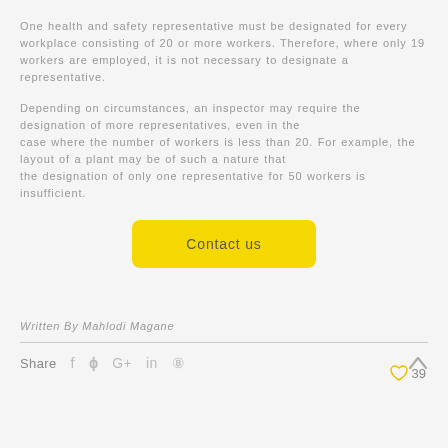One health and safety representative must be designated for every workplace consisting of 20 or more workers. Therefore, where only 19 workers are employed, it is not necessary to designate a representative.
Depending on circumstances, an inspector may require the designation of more representatives, even in the case where the number of workers is less than 20. For example, the layout of a plant may be of such a nature that the designation of only one representative for 50 workers is insufficient.
[Figure (other): Yellow 'Contact us' button]
Written By Mahlodi Magane
Share   39